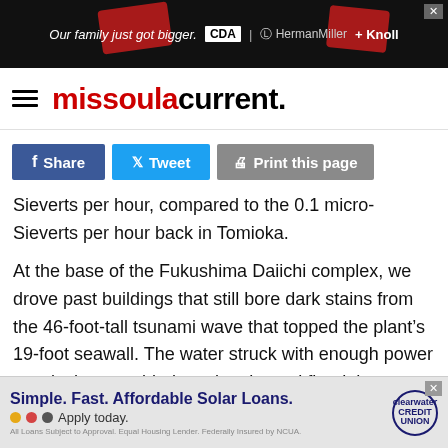[Figure (other): Top advertisement banner: dark background with red accent shapes, text 'Our family just got bigger. CDA | HermanMiller + Knoll', close button X]
missoula current.
[Figure (other): Social share buttons: Facebook Share (dark blue), Tweet (light blue), Print this page (gray)]
Sieverts per hour, compared to the 0.1 micro-Sieverts per hour back in Tomioka.
At the base of the Fukushima Daiichi complex, we drove past buildings that still bore dark stains from the 46-foot-tall tsunami wave that topped the plant’s 19-foot seawall. The water struck with enough power to twist huge welded steel tanks and flood the emergency power generators – their failure allowing the reactor cores to overheat and trigger the
[Figure (other): Bottom advertisement banner: Clearwater Credit Union ad reading 'Simple. Fast. Affordable Solar Loans. Apply today.' with colored dots and fine print]